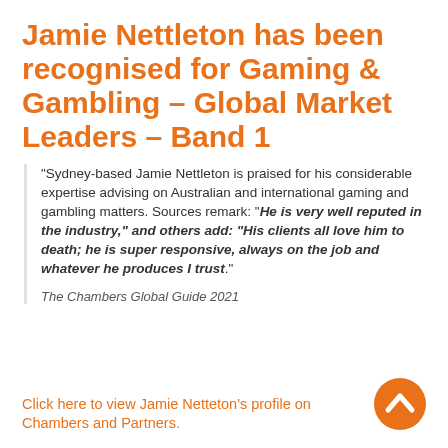Jamie Nettleton has been recognised for Gaming & Gambling – Global Market Leaders – Band 1
“Sydney-based Jamie Nettleton is praised for his considerable expertise advising on Australian and international gaming and gambling matters. Sources remark: “He is very well reputed in the industry,” and others add: “His clients all love him to death; he is super responsive, always on the job and whatever he produces I trust.”
The Chambers Global Guide 2021
Click here to view Jamie Netteton’s profile on Chambers and Partners.